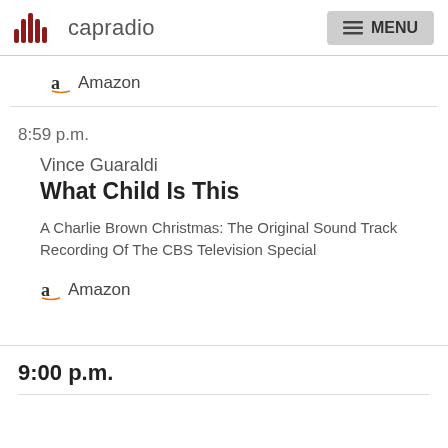capradio  MENU
[Figure (logo): CapRadio logo with red audio waveform bars and the word 'capradio' in gray]
Amazon
8:59 p.m.
Vince Guaraldi
What Child Is This
A Charlie Brown Christmas: The Original Sound Track Recording Of The CBS Television Special
Amazon
9:00 p.m.